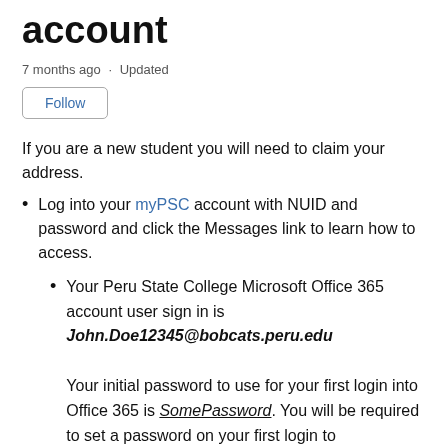account
7 months ago · Updated
Follow
If you are a new student you will need to claim your address.
Log into your myPSC account with NUID and password and click the Messages link to learn how to access.
Your Peru State College Microsoft Office 365 account user sign in is John.Doe12345@bobcats.peru.edu

Your initial password to use for your first login into Office 365 is SomePassword. You will be required to set a password on your first login to https://login.microsoft.com/?whr=peru.edu. Enter